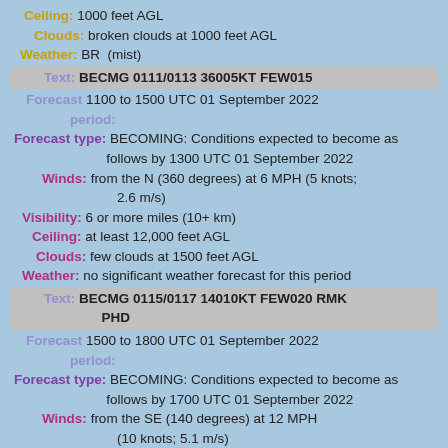Ceiling: 1000 feet AGL
Clouds: broken clouds at 1000 feet AGL
Weather: BR  (mist)
Text: BECMG 0111/0113 36005KT FEW015
Forecast period: 1100 to 1500 UTC 01 September 2022
Forecast type: BECOMING: Conditions expected to become as follows by 1300 UTC 01 September 2022
Winds: from the N (360 degrees) at 6 MPH (5 knots; 2.6 m/s)
Visibility: 6 or more miles (10+ km)
Ceiling: at least 12,000 feet AGL
Clouds: few clouds at 1500 feet AGL
Weather: no significant weather forecast for this period
Text: BECMG 0115/0117 14010KT FEW020 RMK PHD
Forecast period: 1500 to 1800 UTC 01 September 2022
Forecast type: BECOMING: Conditions expected to become as follows by 1700 UTC 01 September 2022
Winds: from the SE (140 degrees) at 12 MPH (10 knots; 5.1 m/s)
Visibility: 6 or more miles (10+ km)